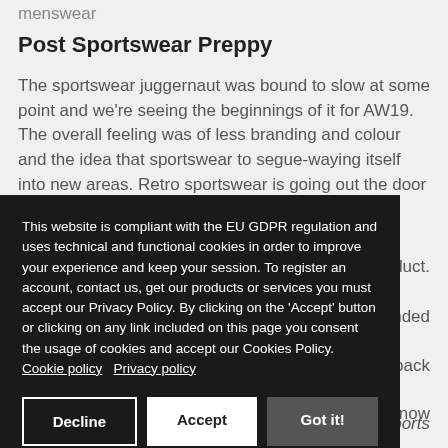menswear
Post Sportswear Preppy
The sportswear juggernaut was bound to slow at some point and we're seeing the beginnings of it for AW19. The overall feeling was of less branding and colour and the idea that sportswear to segue-waying itself into new areas. Retro sportswear is going out the door and [partly obscured] product. [partly obscured] randed [partly obscured] g back [partly obscured] now
This website is compliant with the EU GDPR regulation and uses technical and functional cookies in order to improve your experience and keep your session. To register an account, contact us, get our products or services you must accept our Privacy Policy. By clicking on the 'Accept' button or clicking on any link included on this page you consent the usage of cookies and accept our Cookies Policy. Cookie policy   Privacy policy
Decline   Accept   Got it!
n sports